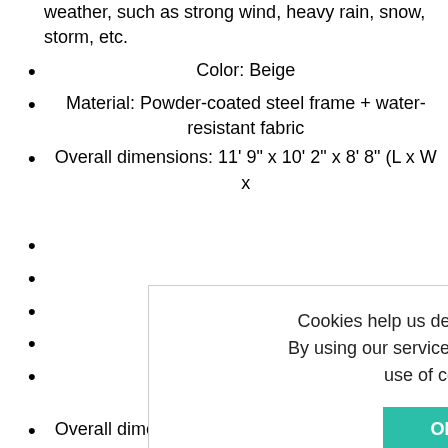weather, such as strong wind, heavy rain, snow, storm, etc.
Color: Beige
Material: Powder-coated steel frame + water-resistant fabric
Overall dimensions: 11' 9" x 10' 2" x 8' 8" (L x W x
er-resistant fabric
Overall dimensions: 11' 9" x 10' 2" x 8' 8" (L x W x H)
Diagonal length: 11' 9"
Cookies help us deliver our services. By using our services, you agree to our use of cookies.
OK
Learn more